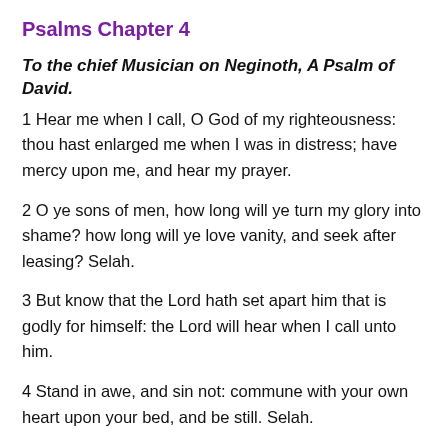Psalms Chapter 4
To the chief Musician on Neginoth, A Psalm of David.
1 Hear me when I call, O God of my righteousness: thou hast enlarged me when I was in distress; have mercy upon me, and hear my prayer.
2 O ye sons of men, how long will ye turn my glory into shame? how long will ye love vanity, and seek after leasing? Selah.
3 But know that the Lord hath set apart him that is godly for himself: the Lord will hear when I call unto him.
4 Stand in awe, and sin not: commune with your own heart upon your bed, and be still. Selah.
5 Offer the sacrifices of righteousness, and put your trust...